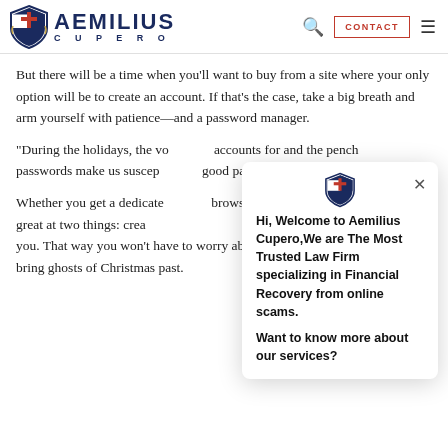Aemilius Cupero — Navigation header with logo, search, contact button, and menu
But there will be a time when you'll want to buy from a site where your only option will be to create an account. If that's the case, take a big breath and arm yourself with patience—and a password manager.
"During the holidays, the vo... accounts for and the pench... passwords make us suscep... good password manager ca...
Whether you get a dedicate... browser (Chrome and Firefo... are great at two things: crea... and remembering them for you. That way you won't have to worry about future data leaks that may bring ghosts of Christmas past.
[Figure (screenshot): Chat popup widget from Aemilius Cupero law firm website. Shows shield logo at top, close X button, and bold text: 'Hi, Welcome to Aemilius Cupero,We are The Most Trusted Law Firm specializing in Financial Recovery from online scams. Want to know more about our services?']
[Figure (screenshot): Purple circular chat bubble button in bottom right corner of the page.]